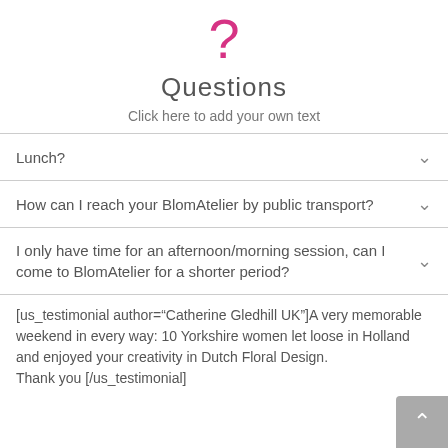[Figure (illustration): Pink question mark icon]
Questions
Click here to add your own text
Lunch?
How can I reach your BlomAtelier by public transport?
I only have time for an afternoon/morning session, can I come to BlomAtelier for a shorter period?
[us_testimonial author="Catherine Gledhill UK"]A very memorable weekend in every way: 10 Yorkshire women let loose in Holland and enjoyed your creativity in Dutch Floral Design.
Thank you [/us_testimonial]